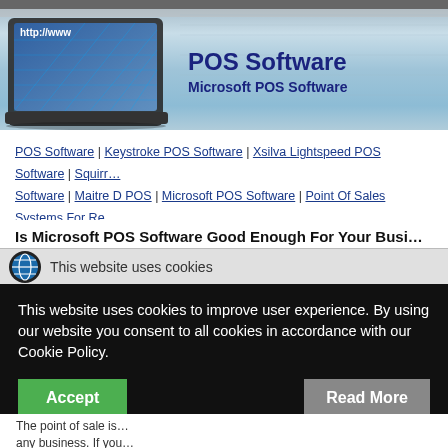[Figure (illustration): Website header banner with laptop computer image showing http://www, circuit board background, and POS Software title]
POS Software
Microsoft POS Software
POS Software | Keystroke POS Software | Xsilva Lightspeed POS Software | Squirr... Software | Maitre D POS | Microsoft POS Software | Point Of Sales Systems For Re... Systems | In Store Point Of Sale | POS For Retail
Is Microsoft POS Software Good Enough For Your Busi...
This website uses cookies
This website uses cookies to improve user experience. By using our website you consent to all cookies in accordance with our Cookie Policy.
Accept
Read More
The point of sale is... any business. If you...